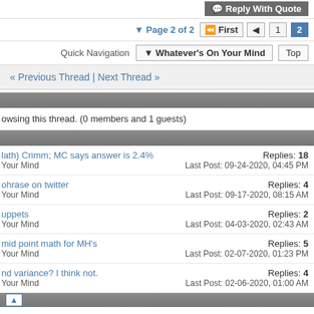Reply With Quote
Page 2 of 2  First  1  2
Quick Navigation  Whatever's On Your Mind  Top
« Previous Thread | Next Thread »
owsing this thread. (0 members and 1 guests)
Math) Crimm; MC says answer is 2.4%  Whatever's On Your Mind  Replies: 18  Last Post: 09-24-2020, 04:45 PM
ohrase on twitter  Whatever's On Your Mind  Replies: 4  Last Post: 09-17-2020, 08:15 AM
uppets  Whatever's On Your Mind  Replies: 2  Last Post: 04-03-2020, 02:43 AM
mid point math for MH's  Whatever's On Your Mind  Replies: 5  Last Post: 02-07-2020, 01:23 PM
nd variance? I think not.  Whatever's On Your Mind  Replies: 4  Last Post: 02-06-2020, 01:00 AM